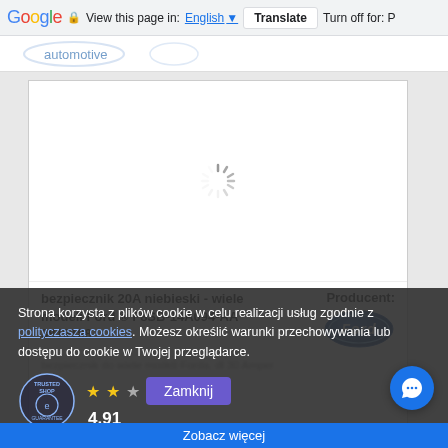Google  View this page in: English  Translate  Turn off for: P
[Figure (screenshot): Loading spinner on white background inside product card]
bezpiecznik 20A niebieski - wiele modeli Ford ® F8SB-14A094-AA 3819188
Producent:
[Figure (logo): Ford oval blue logo]
bezpiecznik do wiele modeli Forda. dł 30 Amper
Strona korzysta z plików cookie w celu realizacji usług zgodnie z polityczasza cookies. Możesz określić warunki przechowywania lub dostępu do cookie w Twojej przeglądarce.
[Figure (logo): Trusted Shop Guarantee badge]
4,91
Zamknij
Zobacz więcej